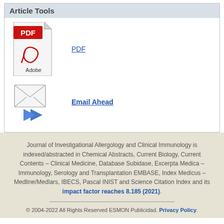Article Tools
[Figure (illustration): PDF icon with Adobe logo]
PDF
[Figure (illustration): Email envelope icon with blue forward arrows]
Email Ahead
Journal of Investigational Allergology and Clinical Immunology is indexed/abstracted in Chemical Abstracts, Current Biology, Current Contents – Clinical Medicine, Database Subidase, Excerpta Medica – Immunology, Serology and Transplantation EMBASE, Index Medicus – Medline/Medlars, IBECS, Pascal INIST and Science Citation Index and its impact factor reaches 8.185 (2021).
© 2004-2022 All Rights Reserved ESMON Publicidad. Privacy Policy.